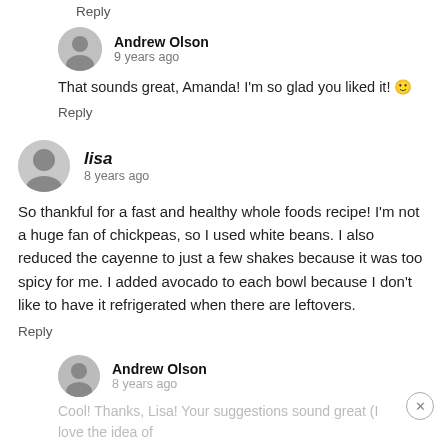Reply
Andrew Olson
9 years ago
That sounds great, Amanda! I'm so glad you liked it! 🙂
Reply
lisa
8 years ago
So thankful for a fast and healthy whole foods recipe! I'm not a huge fan of chickpeas, so I used white beans. I also reduced the cayenne to just a few shakes because it was too spicy for me. I added avocado to each bowl because I don't like to have it refrigerated when there are leftovers.
Reply
Andrew Olson
8 years ago
Cool! Thanks, Lisa! Your suggestions sound great (I love the idea of